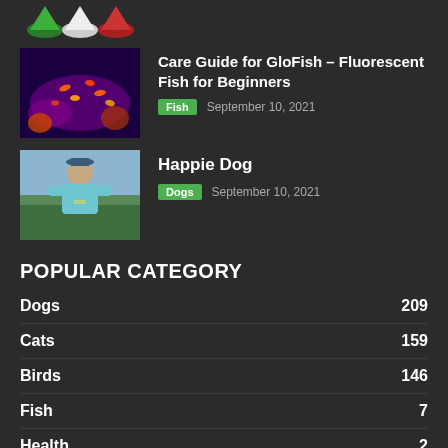[Figure (photo): Partial view of colorful toy figures (green, white, red) at top of page]
[Figure (photo): Colorful GloFish in a purple/dark aquarium with coral]
Care Guide for GloFish – Fluorescent Fish for Beginners
Fish  September 10, 2021
[Figure (photo): Man in light blue hoodie standing outdoors]
Happie Dog
Dogs  September 10, 2021
POPULAR CATEGORY
Dogs 209
Cats 159
Birds 146
Fish 7
Health 2